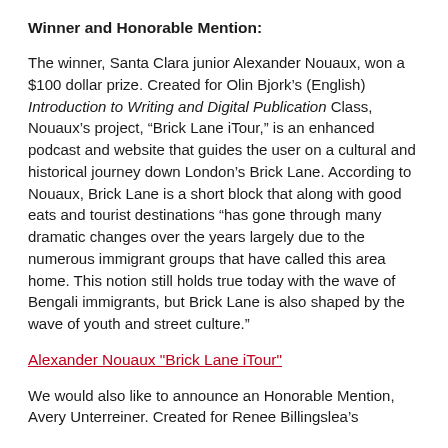Winner and Honorable Mention:
The winner, Santa Clara junior Alexander Nouaux, won a $100 dollar prize. Created for Olin Bjork’s (English) Introduction to Writing and Digital Publication Class, Nouaux’s project, “Brick Lane iTour,” is an enhanced podcast and website that guides the user on a cultural and historical journey down London’s Brick Lane. According to Nouaux, Brick Lane is a short block that along with good eats and tourist destinations “has gone through many dramatic changes over the years largely due to the numerous immigrant groups that have called this area home. This notion still holds true today with the wave of Bengali immigrants, but Brick Lane is also shaped by the wave of youth and street culture.”
Alexander Nouaux "Brick Lane iTour"
We would also like to announce an Honorable Mention, Avery Unterreiner. Created for Renee Billingslea’s